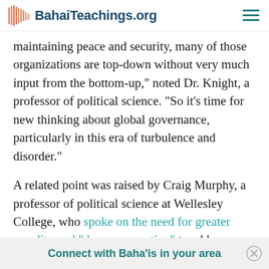BahaiTeachings.org
maintaining peace and security, many of those organizations are top-down without very much input from the bottom-up," noted Dr. Knight, a professor of political science. "So it's time for new thinking about global governance, particularly in this era of turbulence and disorder."
A related point was raised by Craig Murphy, a professor of political science at Wellesley College, who spoke on the need for greater equality and "deep cooperation" to address global problems.
Connect with Baha'is in your area